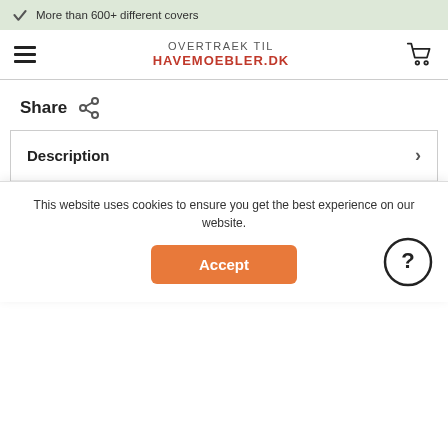✓ More than 600+ different covers
[Figure (screenshot): Navigation bar with hamburger menu, OVERTRAEK TIL HAVEMOEBLER.DK brand name, and shopping cart icon]
Share
Description
Cover for stacking chairs Specifications: Product number: CA-179 /...more
Specifications
This website uses cookies to ensure you get the best experience on our website.